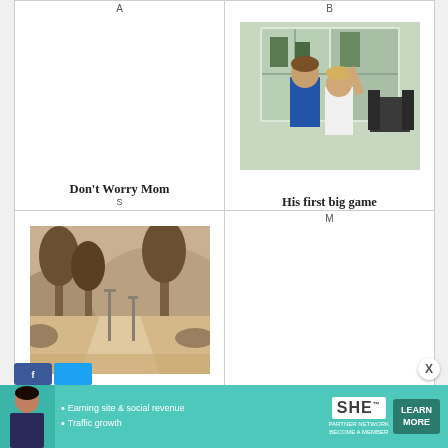[Figure (photo): Card A top-left: blank/white area with label A]
Don't Worry Mom
S
[Figure (photo): Card B top-right: two boys playing inside a home, one in blue jersey, one in white shirt, near window with armchair]
His first big game
B
[Figure (photo): Card C bottom-left: sepia-toned outdoor scene with trees and pathway, wine country landscape]
Wine Country Wall Art
Li
[Figure (photo): Card D bottom-right: blank/white area for Spy Club]
Spy Club
M
[Figure (infographic): Bottom ad banner: SHE Partner Network - Earning site & social revenue, Traffic growth. Learn More button.]